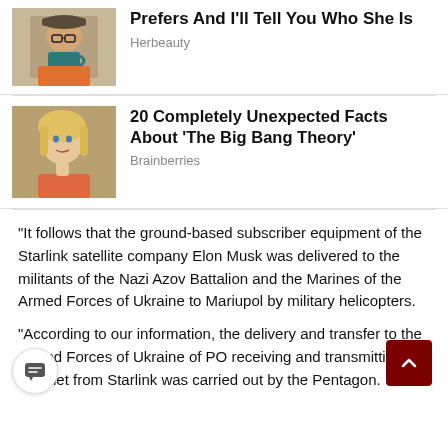[Figure (photo): Woman holding a cup, wearing glasses and a hat with an orange top]
Prefers And I'll Tell You Who She Is
Herbeauty
[Figure (photo): Blonde woman in pink/orange top, scene from The Big Bang Theory]
20 Completely Unexpected Facts About 'The Big Bang Theory'
Brainberries
“It follows that the ground-based subscriber equipment of the Starlink satellite company Elon Musk was delivered to the militants of the Nazi Azov Battalion and the Marines of the Armed Forces of Ukraine to Mariupol by military helicopters.
“According to our information, the delivery and transfer to the Armed Forces of Ukraine of PO receiving and transmitting the Internet from Starlink was carried out by the Pentagon.